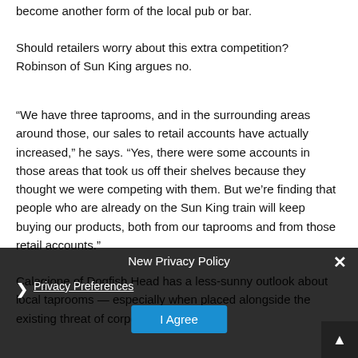become another form of the local pub or bar.
Should retailers worry about this extra competition? Robinson of Sun King argues no.
“We have three taprooms, and in the surrounding areas around those, our sales to retail accounts have actually increased,” he says. “Yes, there were some accounts in those areas that took us off their shelves because they thought we were competing with them. But we’re finding that people who are already on the Sun King train will keep buying our products, both from our taprooms and from those retail accounts.”
Calagione of Dogfish Head has a less-sunny outlook about local taprooms — especially when placed alongside the existing threat of corporate beer.